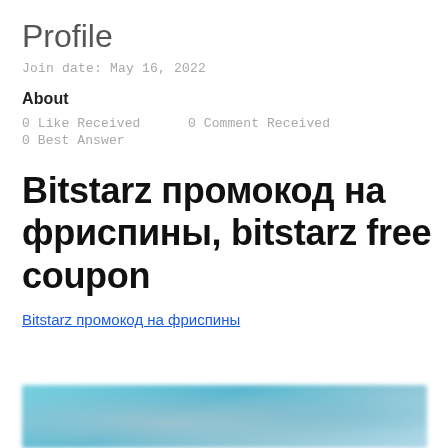Profile
Join date: May 16, 2022
About
0 Like Received    0 Comment Received
0 Best Answer
Bitstarz промокод на фриспины, bitstarz free coupon
Bitstarz промокод на фриспины
[Figure (photo): Blurred image partially visible at bottom of page]